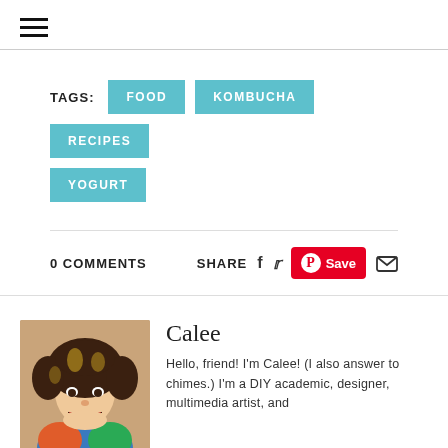FOOD
KOMBUCHA
RECIPES
YOGURT
0 COMMENTS   SHARE
[Figure (photo): Portrait photo of Calee, a young woman with curly hair, smiling widely, wearing a colorful top.]
Calee
Hello, friend! I'm Calee! (I also answer to chimes.) I'm a DIY academic, designer, multimedia artist, and aspiring bass player. I geek music and spend